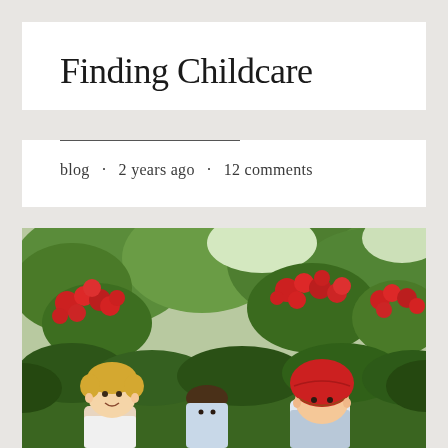Finding Childcare
blog · 2 years ago · 12 comments
[Figure (photo): Three children outdoors in front of lush green bushes and red flowering shrubs. One child on the right wears a red bicycle helmet. The children appear to be young, smiling, photographed from roughly waist-up.]